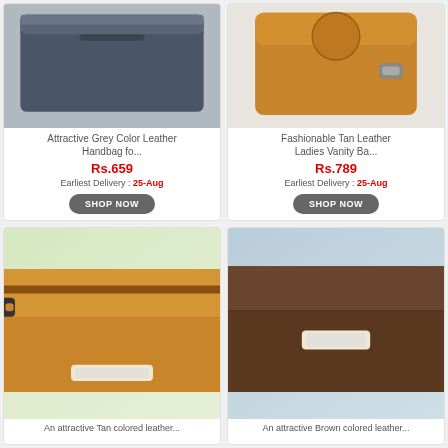[Figure (photo): Grey leather handbag product photo on grey background]
Attractive Grey Color Leather Handbag fo...
Rs.659
Earliest Delivery : 25-Aug
[Figure (photo): Tan leather ladies vanity bag product photo on white background]
Fashionable Tan Leather Ladies Vanity Ba...
Rs.789
Earliest Delivery : 25-Aug
[Figure (photo): Tan leather wallet/clutch product photo on blurred green background]
An attractive Tan colored leather...
[Figure (photo): Brown leather wallet/clutch product photo on blue-grey background]
An attractive Brown colored leather...